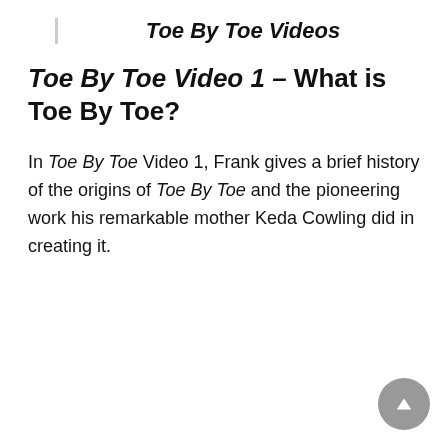Toe By Toe Videos
Toe By Toe Video 1 – What is Toe By Toe?
In Toe By Toe Video 1, Frank gives a brief history of the origins of Toe By Toe and the pioneering work his remarkable mother Keda Cowling did in creating it.